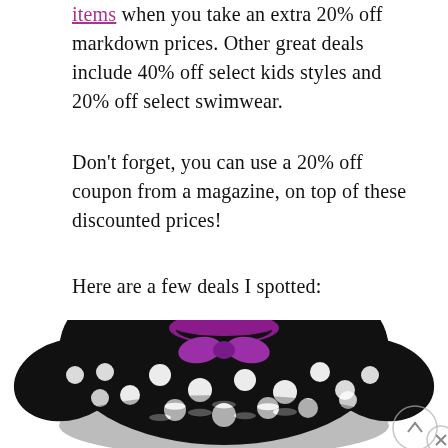items when you take an extra 20% off markdown prices. Other great deals include 40% off select kids styles and 20% off select swimwear.
Don't forget, you can use a 20% off coupon from a magazine, on top of these discounted prices!
Here are a few deals I spotted:
[Figure (photo): A black long-sleeve top with white polka dots and a purple bow at the neckline, shown with its reflection below.]